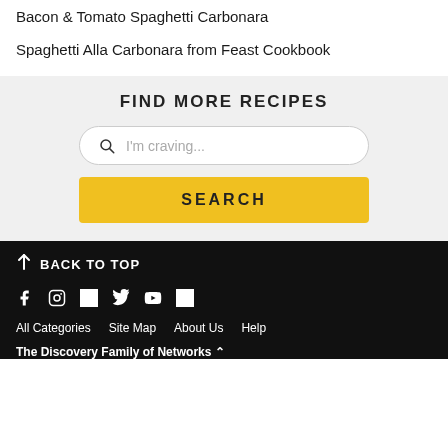Bacon & Tomato Spaghetti Carbonara
Spaghetti Alla Carbonara from Feast Cookbook
FIND MORE RECIPES
I'm craving...
SEARCH
↑ BACK TO TOP
Social media icons: Facebook, Instagram, square, Twitter, YouTube, square
All Categories   Site Map   About Us   Help
The Discovery Family of Networks ^